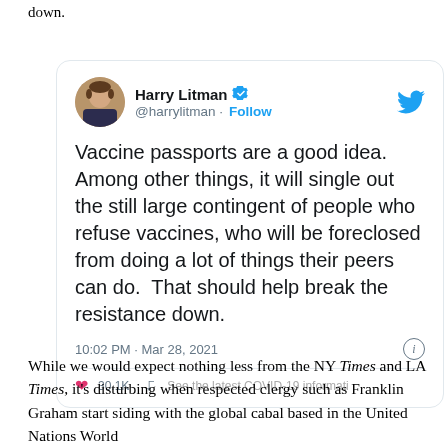down.
[Figure (screenshot): Screenshot of a tweet by Harry Litman (@harrylitman) with blue verified checkmark. Tweet text: 'Vaccine passports are a good idea. Among other things, it will single out the still large contingent of people who refuse vaccines, who will be foreclosed from doing a lot of things their peers can do. That should help break the resistance down.' Timestamp: 10:02 PM · Mar 28, 2021. Shows heart icon and partial COVID-19 information bar at bottom.]
While we would expect nothing less from the NY Times and LA Times, it's disturbing when respected clergy such as Franklin Graham start siding with the global cabal based in the United Nations World